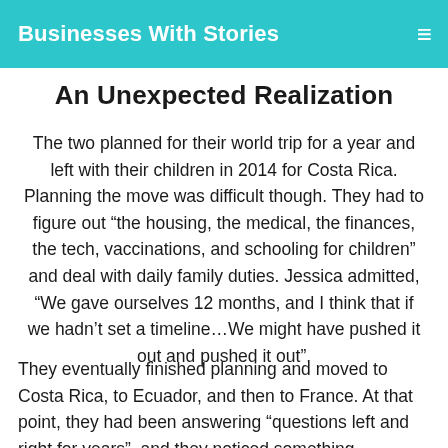Businesses With Stories
An Unexpected Realization
The two planned for their world trip for a year and left with their children in 2014 for Costa Rica. Planning the move was difficult though. They had to figure out “the housing, the medical, the finances, the tech, vaccinations, and schooling for children” and deal with daily family duties. Jessica admitted, “We gave ourselves 12 months, and I think that if we hadn’t set a timeline…We might have pushed it out and pushed it out”.
They eventually finished planning and moved to Costa Rica, to Ecuador, and then to France. At that point, they had been answering “questions left and right for years”, and they noticed something